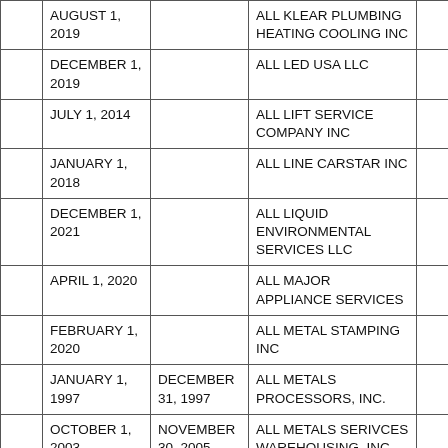|  | Start Date | End Date | Company Name |  |
| --- | --- | --- | --- | --- |
|  | AUGUST 1, 2019 |  | ALL KLEAR PLUMBING HEATING COOLING INC |  |
|  | DECEMBER 1, 2019 |  | ALL LED USA LLC |  |
|  | JULY 1, 2014 |  | ALL LIFT SERVICE COMPANY INC |  |
|  | JANUARY 1, 2018 |  | ALL LINE CARSTAR INC |  |
|  | DECEMBER 1, 2021 |  | ALL LIQUID ENVIRONMENTAL SERVICES LLC |  |
|  | APRIL 1, 2020 |  | ALL MAJOR APPLIANCE SERVICES |  |
|  | FEBRUARY 1, 2020 |  | ALL METAL STAMPING INC |  |
|  | JANUARY 1, 1997 | DECEMBER 31, 1997 | ALL METALS PROCESSORS, INC. |  |
|  | OCTOBER 1, 2003 | NOVEMBER 30, 2005 | ALL METALS SERIVCES WAREHOUSING, INC. |  |